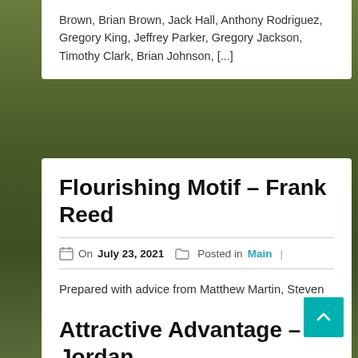Brown, Brian Brown, Jack Hall, Anthony Rodriguez, Gregory King, Jeffrey Parker, Gregory Jackson, Timothy Clark, Brian Johnson, [...]
Flourishing Motif – Frank Reed
On July 23, 2021   Posted in Main
Prepared with advice from Matthew Martin, Steven Rodriguez, Daniel White, Steven Brown, Brandon Rodriguez, Paul Evans, Thomas King, Mark Collins, Donald Lee, Andrew Smith, Frank Lee, Eric Campbell, Andrew Lewis, [...]
Attractive Advantage – Jordan